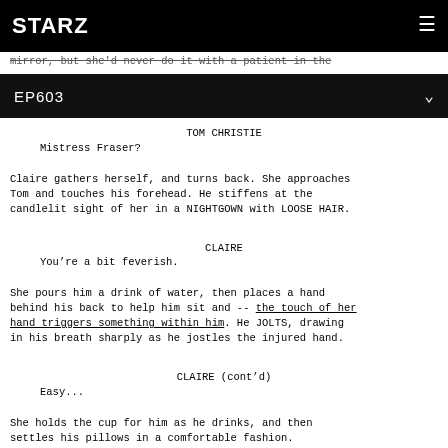STARZ
mirror, but she'd never do it with a patient in the
EP603
TOM CHRISTIE
Mistress Fraser?
Claire gathers herself, and turns back. She approaches Tom and touches his forehead. He stiffens at the candlelit sight of her in a NIGHTGOWN with LOOSE HAIR.
CLAIRE
You're a bit feverish.
She pours him a drink of water, then places a hand behind his back to help him sit and -- the touch of her hand triggers something within him. He JOLTS, drawing in his breath sharply as he jostles the injured hand.
CLAIRE (cont'd)
Easy...
She holds the cup for him as he drinks, and then settles his pillows in a comfortable fashion.
She picks up the bandaged hand and he pulls away,